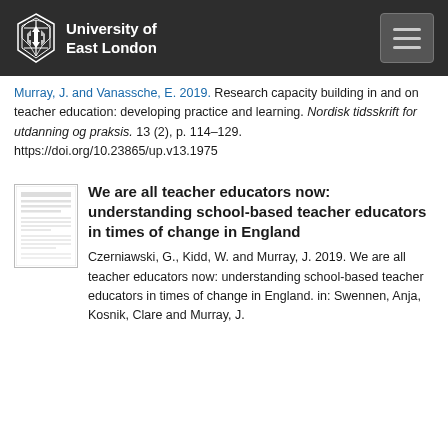University of East London
Murray, J. and Vanassche, E. 2019. Research capacity building in and on teacher education: developing practice and learning. Nordisk tidsskrift for utdanning og praksis. 13 (2), p. 114–129. https://doi.org/10.23865/up.v13.1975
[Figure (other): Thumbnail image of a document/paper]
We are all teacher educators now: understanding school-based teacher educators in times of change in England
Czerniawski, G., Kidd, W. and Murray, J. 2019. We are all teacher educators now: understanding school-based teacher educators in times of change in England. in: Swennen, Anja, Kosnik, Clare and Murray, J.